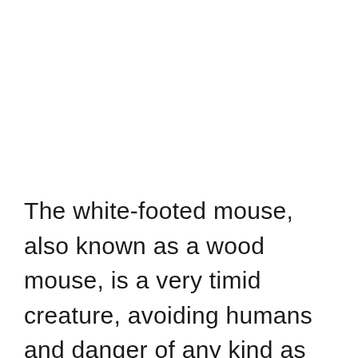The white-footed mouse, also known as a wood mouse, is a very timid creature, avoiding humans and danger of any kind as much as possible. This species of mice are omnivores living on a diet of mainly seeds and insects. Mice are clean and accomplished groomers. They are also...